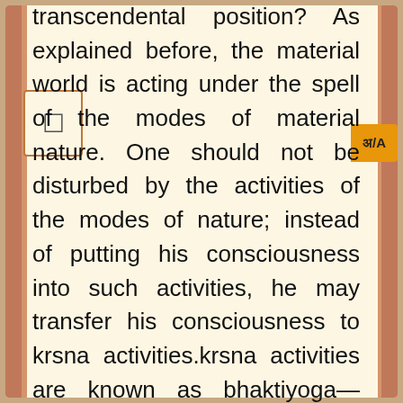transcendental position? As explained before, the material world is acting under the spell of the modes of material nature. One should not be disturbed by the activities of the modes of nature; instead of putting his consciousness into such activities, he may transfer his consciousness to krsna activities.krsna activities are known as bhaktiyoga—always acting for Krsna. This includes not only Krsna, but His different plenary expansions such as Räma and Näräyana. He has